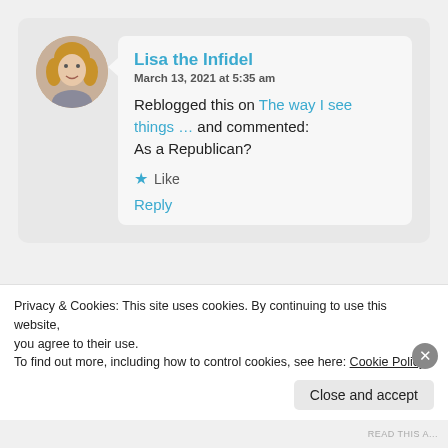Lisa the Infidel
March 13, 2021 at 5:35 am
Reblogged this on The way I see things … and commented:
As a Republican?
Like
Reply
bannedhipster
Privacy & Cookies: This site uses cookies. By continuing to use this website, you agree to their use.
To find out more, including how to control cookies, see here: Cookie Policy
Close and accept